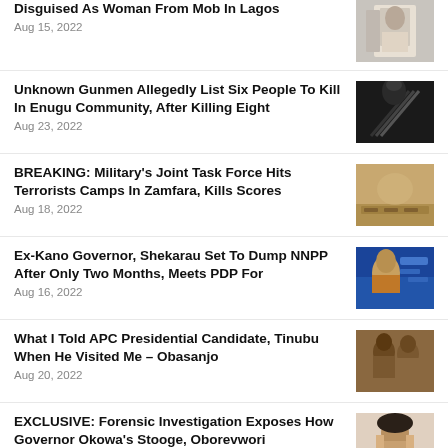Disguised As Woman From Mob In Lagos
Aug 15, 2022
Unknown Gunmen Allegedly List Six People To Kill In Enugu Community, After Killing Eight
Aug 23, 2022
BREAKING: Military's Joint Task Force Hits Terrorists Camps In Zamfara, Kills Scores
Aug 18, 2022
Ex-Kano Governor, Shekarau Set To Dump NNPP After Only Two Months, Meets PDP For
Aug 16, 2022
What I Told APC Presidential Candidate, Tinubu When He Visited Me – Obasanjo
Aug 20, 2022
EXCLUSIVE: Forensic Investigation Exposes How Governor Okowa's Stooge, Oborevwori
Aug 20, 2022